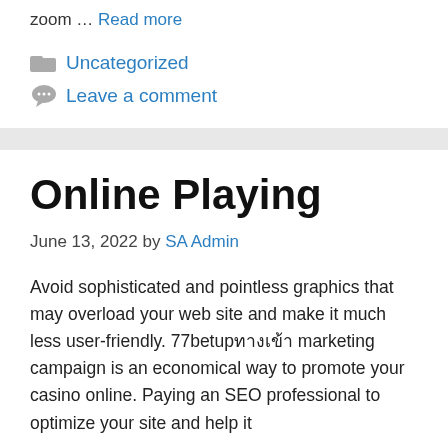zoom … Read more
Uncategorized
Leave a comment
Online Playing
June 13, 2022 by SA Admin
Avoid sophisticated and pointless graphics that may overload your web site and make it much less user-friendly. 77betupทางเข้า marketing campaign is an economical way to promote your casino online. Paying an SEO professional to optimize your site and help it